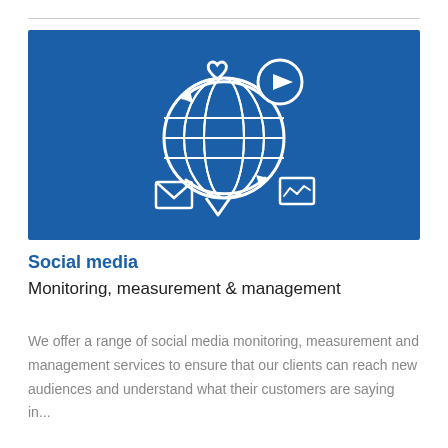[Figure (illustration): Blue rectangular banner with a white line-art icon of a globe with grid lines, surrounded by circular arrows, a heart icon at top, a play button circle at top right, a message/envelope icon at bottom left, a small graph icon at bottom right, and a speech bubble at the bottom. The background is a solid medium blue (#1a5fa8).]
Social media
Monitoring, measurement & management
We offer a range of social media monitoring, measurement and management services to ensure that our clients can reach new audiences and understand what their customers are saying in...